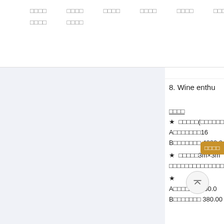□□□□  □□□□  □□□□  □□□□  □□□□  □□□□  □□□□  □□□□
8. Wine enthu…
□□□□
★ □□□□□(□□□□□□□□□…
A□□□□□□□16… □□□□
B□□□□□□□ 4800.0…
★ □□□□□3m×3m…
□□□□□□□□□□□□□□□□…
★
A□□□□□□1300.0…
B□□□□□□□ 380.00…